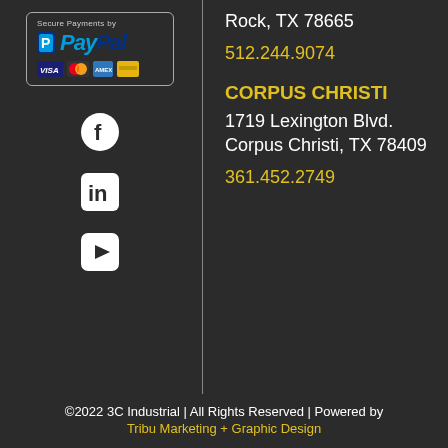[Figure (logo): PayPal Secure Payments logo with credit card icons]
[Figure (logo): Facebook circle icon]
[Figure (logo): LinkedIn square icon]
[Figure (logo): YouTube play button icon]
Rock, TX 78665
512.244.9074
CORPUS CHRISTI
1719 Lexington Blvd. Corpus Christi, TX 78409
361.452.2749
©2022 3C Industrial | All Rights Reserved | Powered by Tribu Marketing + Graphic Design